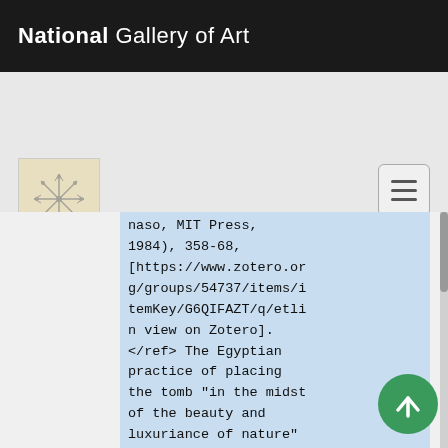National Gallery of Art
[Figure (logo): Small thumbnail image of artwork with snowflake/star pattern on cream background]
naso, MIT Press, 1984), 358-68, [https://www.zotero.org/groups/54737/items/itemKey/G6QIFAZT/q/etlin view on Zotero]. </ref> The Egyptian practice of placing the tomb "in the midst of the beauty and luxuriance of nature" <ref>Blanche Linden-Ward, ''Silent City on a Hill: Landscapes of Memory and Boston Mount Auburn Cemetery'' (Columbus Ohio State University